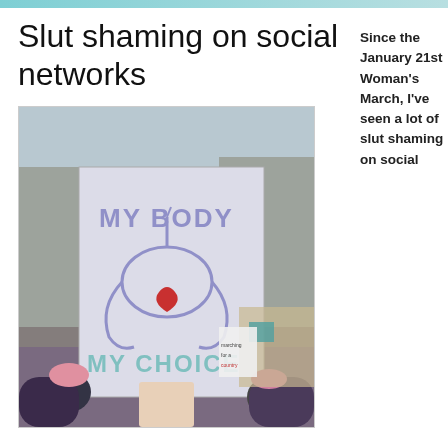Slut shaming on social networks
[Figure (photo): Photo of a person at the January 21st Women's March holding a protest sign that reads 'MY BODY MY CHOICE' with an illustration of a uterus giving the middle finger.]
Since the January 21st Woman's March, I've seen a lot of slut shaming on social